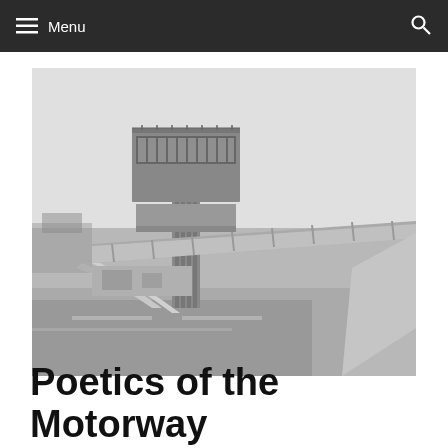Menu
[Figure (photo): Black and white photograph of a brutalist motorway service station with a tall tower topped by a wide rectangular observation/restaurant box, a pedestrian bridge crossing over the motorway, and concrete support pillars in the foreground.]
Poetics of the Motorway